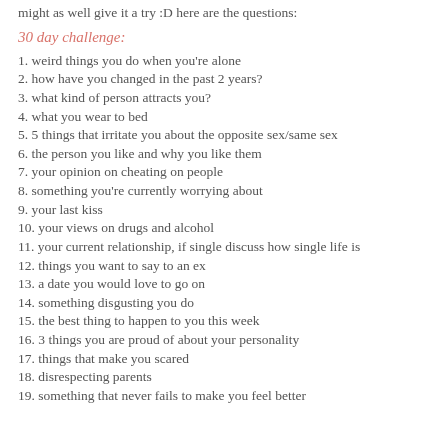might as well give it a try :D here are the questions:
30 day challenge:
1. weird things you do when you're alone
2. how have you changed in the past 2 years?
3. what kind of person attracts you?
4. what you wear to bed
5. 5 things that irritate you about the opposite sex/same sex
6. the person you like and why you like them
7. your opinion on cheating on people
8. something you're currently worrying about
9. your last kiss
10. your views on drugs and alcohol
11. your current relationship, if single discuss how single life is
12. things you want to say to an ex
13. a date you would love to go on
14. something disgusting you do
15. the best thing to happen to you this week
16. 3 things you are proud of about your personality
17. things that make you scared
18. disrespecting parents
19. something that never fails to make you feel better